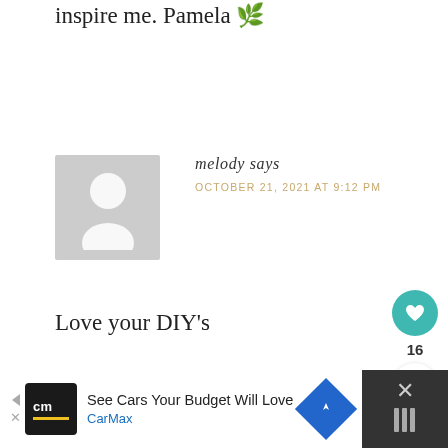inspire me. Pamela 🌿
[Figure (illustration): Default avatar placeholder showing silhouette of a person on grey background]
melody says
OCTOBER 21, 2021 AT 9:12 PM
Love your DIY's
[Figure (infographic): Floating action buttons: teal heart button with like count 16, and share button]
[Figure (screenshot): CarMax advertisement banner: See Cars Your Budget Will Love, CarMax]